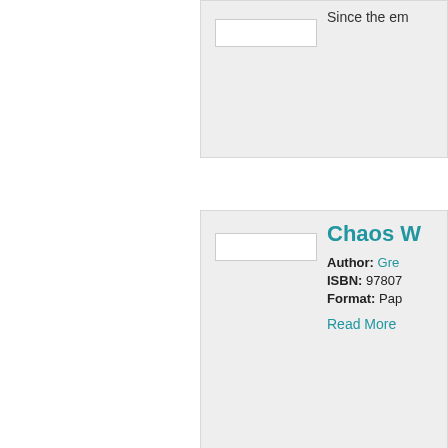Since the em...
Chaos W...
Author: Gre...
ISBN: 97807...
Format: Pap...
Read More
Red Skul...
Author: Gre...
ISBN: 97807...
Format: Pap...
Read More
War Mac...